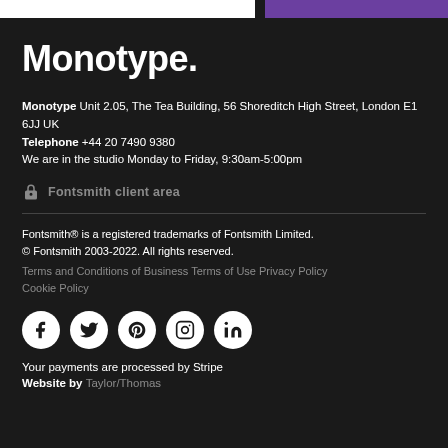Monotype.
Monotype Unit 2.05, The Tea Building, 56 Shoreditch High Street, London E1 6JJ UK
Telephone +44 20 7490 9380
We are in the studio Monday to Friday, 9:30am-5:00pm
Fontsmith client area
Fontsmith® is a registered trademarks of Fontsmith Limited.
© Fontsmith 2003-2022. All rights reserved.
Terms and Conditions of Business Terms of Use Privacy Policy Cookie Policy
[Figure (illustration): Five circular social media icons: Facebook, Twitter, Pinterest, Instagram, LinkedIn]
Your payments are processed by Stripe
Website by Taylor/Thomas